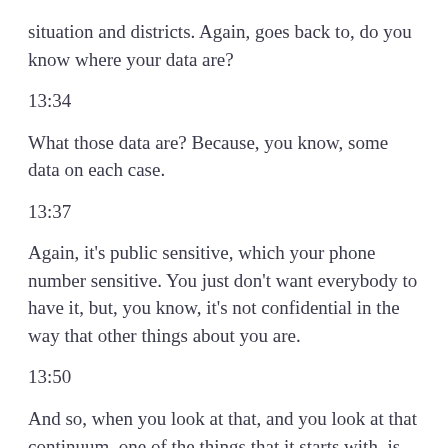situation and districts. Again, goes back to, do you know where your data are?
13:34
What those data are? Because, you know, some data on each case.
13:37
Again, it’s public sensitive, which your phone number sensitive. You just don’t want everybody to have it, but, you know, it’s not confidential in the way that other things about you are.
13:50
And so, when you look at that, and you look at that continuum, one of the things that it starts with, is the best data